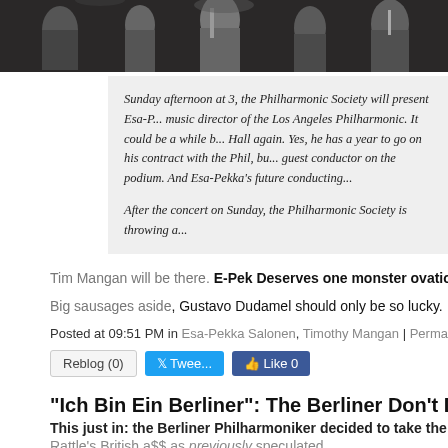[Figure (photo): Dark photo strip showing musicians/performers on stage]
Sunday afternoon at 3, the Philharmonic Society will present Esa-P... music director of the Los Angeles Philharmonic. It could be a while b... Hall again. Yes, he has a year to go on his contract with the Phil, bu... guest conductor on the podium. And Esa-Pekka's future conducting...
After the concert on Sunday, the Philharmonic Society is throwing a...
Tim Mangan will be there. E-Pek Deserves one monster ovation for all...
Big sausages aside, Gustavo Dudamel should only be so lucky.
Posted at 09:51 PM in Esa-Pekka Salonen, Timothy Mangan | Permalink...
"Ich Bin Ein Berliner": The Berliner Don't Dump...
This just in: the Berliner Philharmoniker decided to take the drama lla...
Rattle's British a$$ as previously speculated.